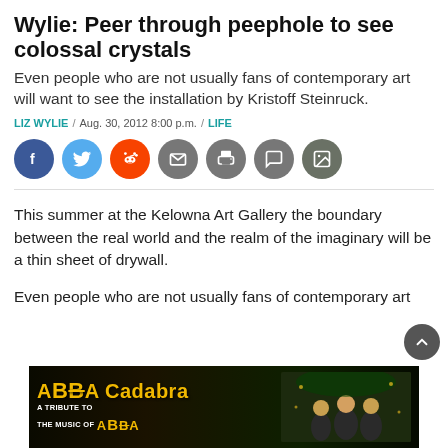Wylie: Peer through peephole to see colossal crystals
Even people who are not usually fans of contemporary art will want to see the installation by Kristoff Steinruck.
LIZ WYLIE / Aug. 30, 2012 8:00 p.m. / LIFE
[Figure (infographic): Social media sharing icons: Facebook, Twitter, Reddit, Email, Print, Comment, Gallery]
This summer at the Kelowna Art Gallery the boundary between the real world and the realm of the imaginary will be a thin sheet of drywall.
Even people who are not usually fans of contemporary art
[Figure (photo): ABBA Cadabra - A Tribute to the Music of ABBA advertisement banner with performers]